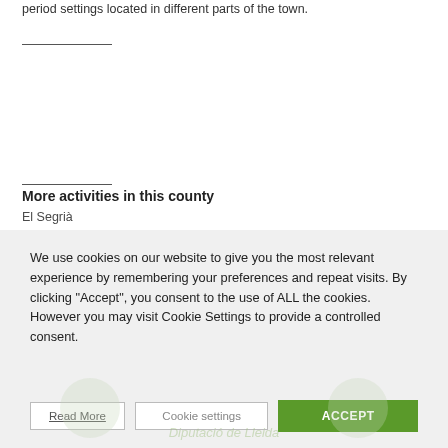period settings located in different parts of the town.
More activities in this county
El Segrià
We use cookies on our website to give you the most relevant experience by remembering your preferences and repeat visits. By clicking "Accept", you consent to the use of ALL the cookies. However you may visit Cookie Settings to provide a controlled consent.